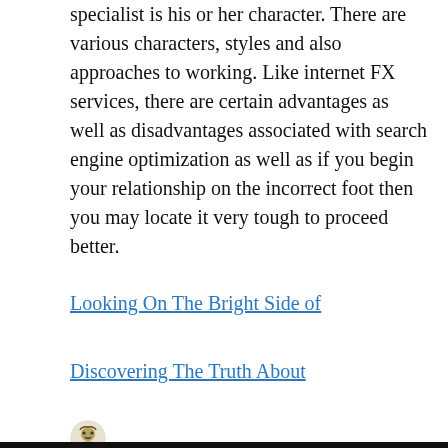specialist is his or her character. There are various characters, styles and also approaches to working. Like internet FX services, there are certain advantages as well as disadvantages associated with search engine optimization as well as if you begin your relationship on the incorrect foot then you may locate it very tough to proceed better.
Looking On The Bright Side of
Discovering The Truth About
Brittany Snow Fan / December 11, 2021 / Web Resources